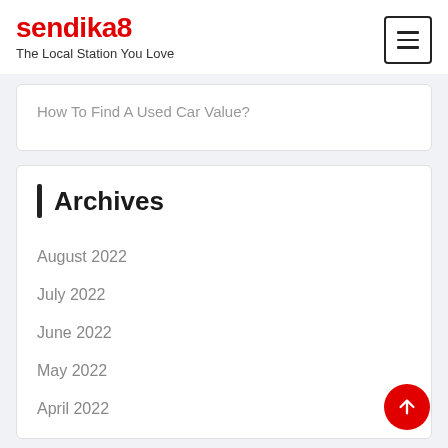sendika8 – The Local Station You Love
How To Find A Used Car Value?
Archives
August 2022
July 2022
June 2022
May 2022
April 2022